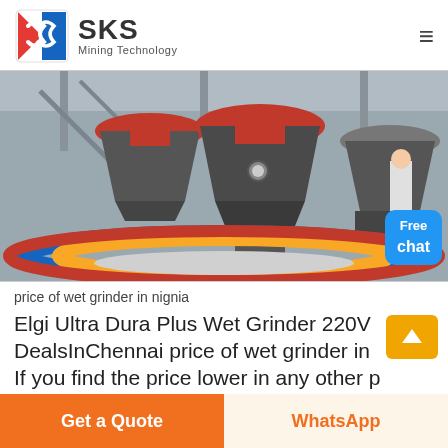[Figure (logo): SKS Mining Technology logo with stylized S icon in red and blue, company name SKS in bold, and Mining Technology subtitle]
[Figure (photo): Industrial mining grinding machines in a factory setting, showing large cone crushers with red, blue, and yellow circular conveyor belts, with white pellets/material visible]
price of wet grinder in nignia
Elgi Ultra Dura Plus Wet Grinder 220V DealsInChennai price of wet grinder in If you find the price lower in any other p thin